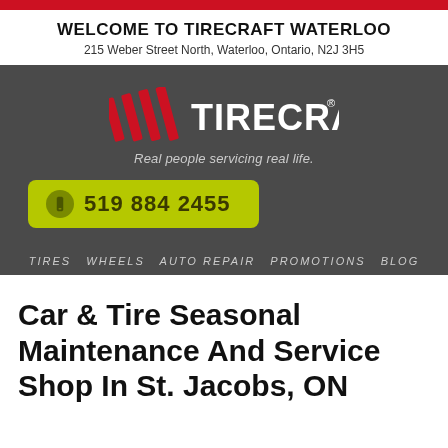WELCOME TO TIRECRAFT WATERLOO
215 Weber Street North, Waterloo, Ontario, N2J 3H5
[Figure (logo): Tirecraft logo with red diagonal stripes and white TIRECRAFT text, tagline 'Real people servicing real life.' and phone number button '519 884 2455' on dark grey background. Navigation links: TIRES WHEELS AUTO REPAIR PROMOTIONS BLOG]
Car & Tire Seasonal Maintenance And Service Shop In St. Jacobs, ON